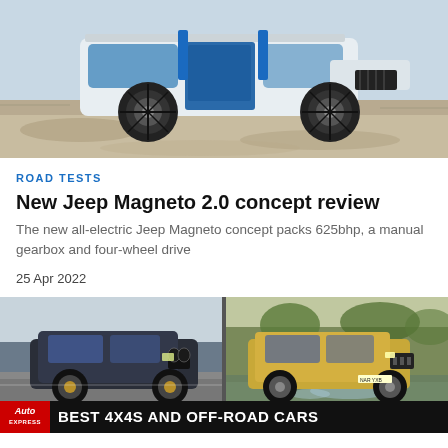[Figure (photo): Jeep Magneto 2.0 concept car – white and blue off-road electric vehicle side profile, driving on rocky terrain]
ROAD TESTS
New Jeep Magneto 2.0 concept review
The new all-electric Jeep Magneto concept packs 625bhp, a manual gearbox and four-wheel drive
25 Apr 2022
[Figure (photo): Two SUVs side by side: left a dark BMW X5 on a road, right a gold/yellow Dacia Duster off-road vehicle in water splash. Banner overlay reads 'BEST 4X4S AND OFF-ROAD CARS' with Auto Express logo]